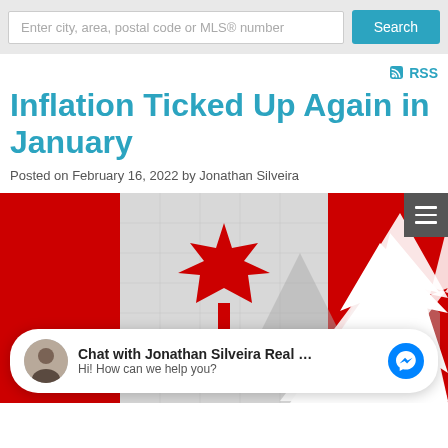Enter city, area, postal code or MLS® number | Search
RSS
Inflation Ticked Up Again in January
Posted on February 16, 2022 by Jonathan Silveira
[Figure (photo): Canadian flag with a red maple leaf overlaid with a white upward-trending arrow on a grid background, symbolizing inflation rising in Canada.]
Chat with Jonathan Silveira Real E… Hi! How can we help you?